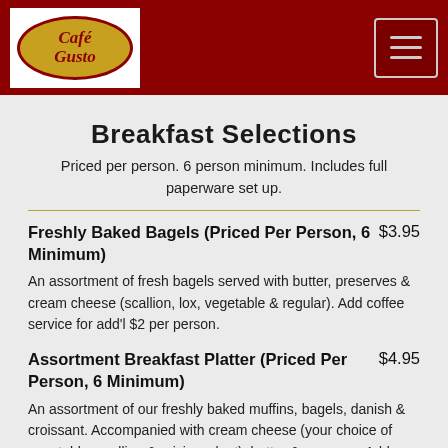Cafe Gusto (logo and navigation header)
Breakfast Selections
Priced per person. 6 person minimum. Includes full paperware set up.
Freshly Baked Bagels (Priced Per Person, 6 Minimum)   $3.95
An assortment of fresh bagels served with butter, preserves & cream cheese (scallion, lox, vegetable & regular). Add coffee service for add'l $2 per person.
Assortment Breakfast Platter (Priced Per Person, 6 Minimum)   $4.95
An assortment of our freshly baked muffins, bagels, danish & croissant. Accompanied with cream cheese (your choice of vegetable, scallion & raisin walnut), butter & preserve. Add coffee service for add'l $2 per per or Tropicana Orange Juice or Fruit Salad for add'l $5